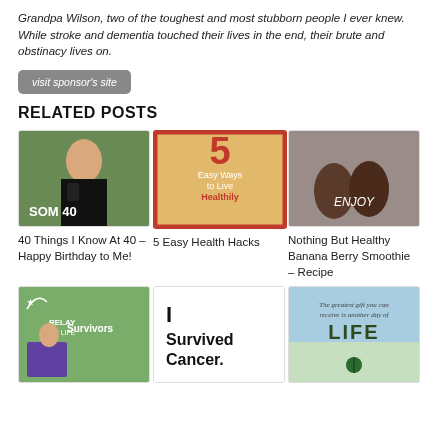Grandpa Wilson, two of the toughest and most stubborn people I ever knew. While stroke and dementia touched their lives in the end, their brute and obstinacy lives on.
visit sponsor's site
RELATED POSTS
[Figure (photo): Photo of a young woman holding a birthday cake outdoors]
40 Things I Know At 40 – Happy Birthday to Me!
[Figure (photo): Graphic showing '5 Easy Ways to Live Healthy' with orange background and red border]
5 Easy Health Hacks
[Figure (photo): Photo of chocolate smoothie drinks with text 'ENJOY']
Nothing But Healthy Banana Berry Smoothie – Recipe
[Figure (photo): Photo of a person at a Relay For Life Survivors event]
[Figure (photo): Text graphic reading 'I Survived Cancer.']
[Figure (photo): Sky background with text 'The greatest gift you can receive is another day of LIFE' and tree icon]